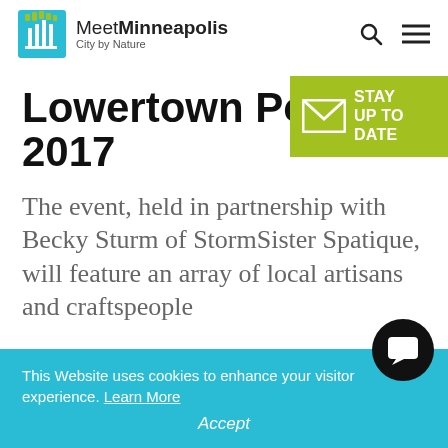Meet Minneapolis – City by Nature
Lowertown Pop 2017
[Figure (infographic): Green badge with envelope icon and text: STAY UP TO DATE]
The event, held in partnership with Becky Sturm of StormSister Spatique, will feature an array of local artisans and craftspeople
This Website uses cookies to enhance your visitor experience. Learn More
Accept